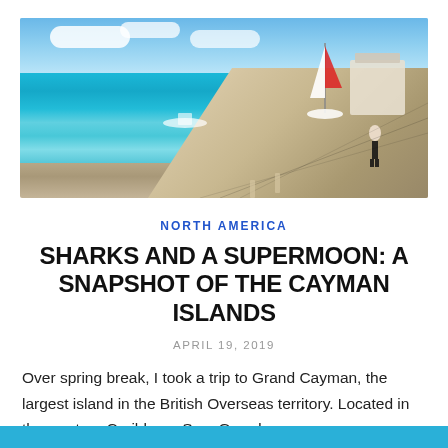[Figure (photo): A wooden pier extending into bright turquoise Caribbean waters with a sailboat and dock structure at the end, blue sky with scattered clouds above. A person in black shorts walks along the pier.]
NORTH AMERICA
SHARKS AND A SUPERMOON: A SNAPSHOT OF THE CAYMAN ISLANDS
APRIL 19, 2019
Over spring break, I took a trip to Grand Cayman, the largest island in the British Overseas territory. Located in the western Caribbean Sea, Grand...